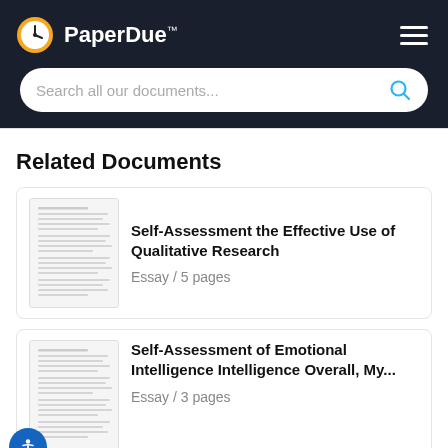PaperDue™
Search all our documents...
Related Documents
[Figure (screenshot): Thumbnail of a document page with text lines]
Self-Assessment the Effective Use of Qualitative Research
Essay / 5 pages
[Figure (screenshot): Thumbnail of a document page with text lines]
Self-Assessment of Emotional Intelligence Intelligence Overall, My...
Essay / 3 pages